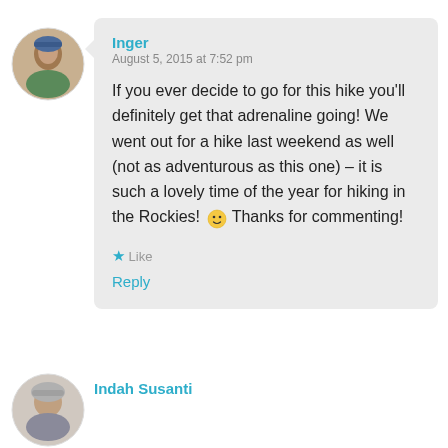[Figure (photo): Circular avatar photo of a person outdoors, top-left of first comment]
Inger
August 5, 2015 at 7:52 pm

If you ever decide to go for this hike you'll definitely get that adrenaline going! We went out for a hike last weekend as well (not as adventurous as this one) – it is such a lovely time of the year for hiking in the Rockies! 🙂 Thanks for commenting!

★ Like
Reply
[Figure (photo): Circular avatar photo of a person, bottom-left of second comment (partially visible)]
Indah Susanti